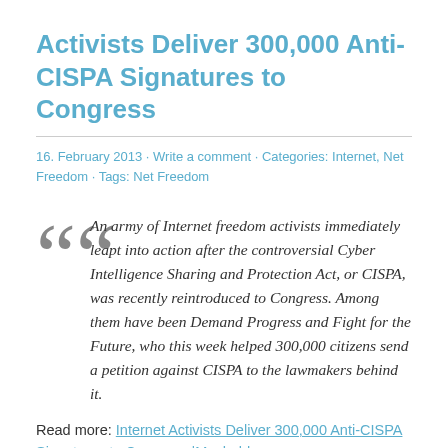Activists Deliver 300,000 Anti-CISPA Signatures to Congress
16. February 2013 · Write a comment · Categories: Internet, Net Freedom · Tags: Net Freedom
An army of Internet freedom activists immediately leapt into action after the controversial Cyber Intelligence Sharing and Protection Act, or CISPA, was recently reintroduced to Congress. Among them have been Demand Progress and Fight for the Future, who this week helped 300,000 citizens send a petition against CISPA to the lawmakers behind it.
Read more: Internet Activists Deliver 300,000 Anti-CISPA Signatures to Congress |Mashable